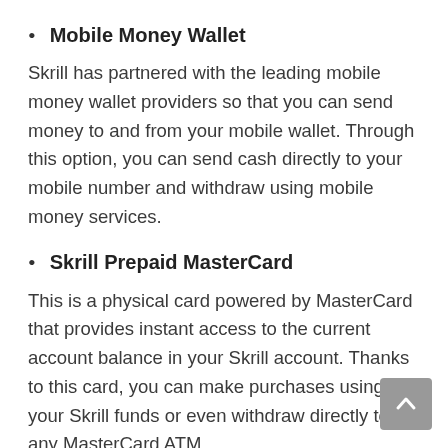Mobile Money Wallet
Skrill has partnered with the leading mobile money wallet providers so that you can send money to and from your mobile wallet. Through this option, you can send cash directly to your mobile number and withdraw using mobile money services.
Skrill Prepaid MasterCard
This is a physical card powered by MasterCard that provides instant access to the current account balance in your Skrill account. Thanks to this card, you can make purchases using your Skrill funds or even withdraw directly to any MasterCard ATM.